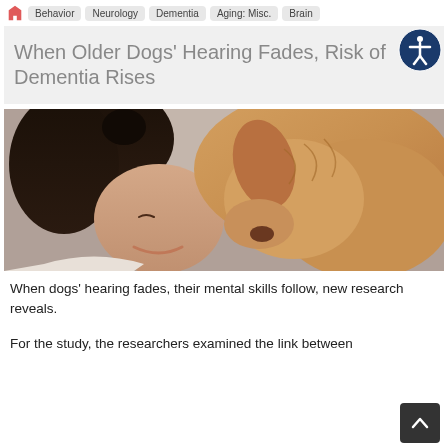Behavior | Neurology | Dementia | Aging: Misc. | Brain
When Older Dogs' Hearing Fades, Risk of Dementia Rises
[Figure (photo): A smiling young woman with dark hair in a bun pressing her forehead against a golden retriever dog, both facing each other closely.]
When dogs' hearing fades, their mental skills follow, new research reveals.
For the study, the researchers examined the link between